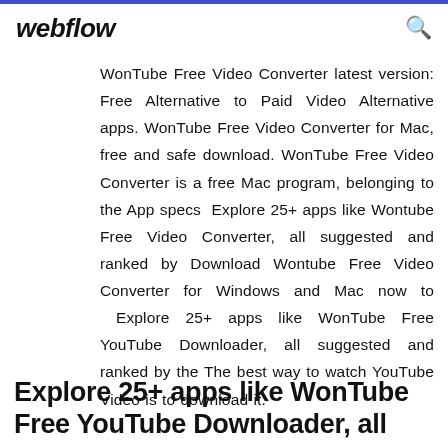webflow
WonTube Free Video Converter latest version: Free Alternative to Paid Video Alternative apps. WonTube Free Video Converter for Mac, free and safe download. WonTube Free Video Converter is a free Mac program, belonging to the App specs  Explore 25+ apps like Wontube Free Video Converter, all suggested and ranked by Download Wontube Free Video Converter for Windows and Mac now to  Explore 25+ apps like WonTube Free YouTube Downloader, all suggested and ranked by the The best way to watch YouTube Video is to download it.
Explore 25+ apps like WonTube Free YouTube Downloader, all